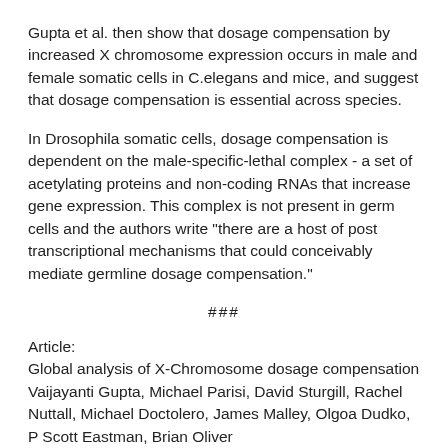Gupta et al. then show that dosage compensation by increased X chromosome expression occurs in male and female somatic cells in C.elegans and mice, and suggest that dosage compensation is essential across species.
In Drosophila somatic cells, dosage compensation is dependent on the male-specific-lethal complex - a set of acetylating proteins and non-coding RNAs that increase gene expression. This complex is not present in germ cells and the authors write "there are a host of post transcriptional mechanisms that could conceivably mediate germline dosage compensation."
###
Article:
Global analysis of X-Chromosome dosage compensation
Vaijayanti Gupta, Michael Parisi, David Sturgill, Rachel Nuttall, Michael Doctolero, James Malley, Olgoa Dudko, P Scott Eastman, Brian Oliver
Journal of Biology 2006, 5:3 (16 February 2006)